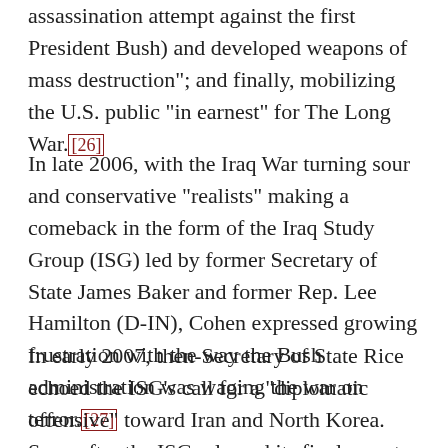assassination attempt against the first President Bush) and developed weapons of mass destruction"; and finally, mobilizing the U.S. public "in earnest" for The Long War.[26]
In late 2006, with the Iraq War turning sour and conservative "realists" making a comeback in the form of the Iraq Study Group (ISG) led by former Secretary of State James Baker and former Rep. Lee Hamilton (D-IN), Cohen expressed growing frustration with the way the Bush administration was waging the war on terror.[27]
In early 2007, then-Secretary of State Rice echoed the ISG's call for a "diplomatic offensive" toward Iran and North Korea. Soon after the ISG released its final report, Cohen criticized the group in a Wall Street Journal editorial, "This is a group